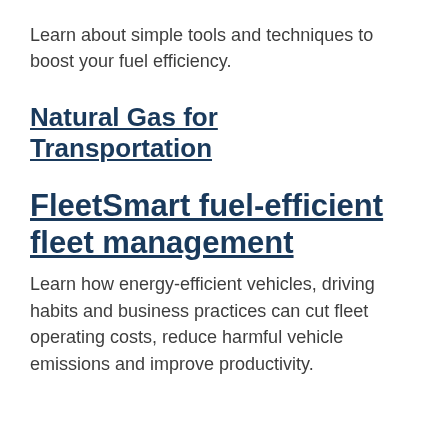Learn about simple tools and techniques to boost your fuel efficiency.
Natural Gas for Transportation
FleetSmart fuel-efficient fleet management
Learn how energy-efficient vehicles, driving habits and business practices can cut fleet operating costs, reduce harmful vehicle emissions and improve productivity.